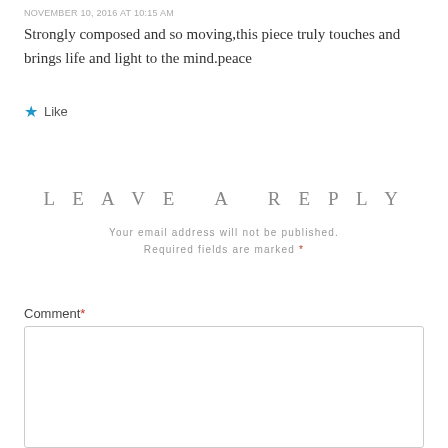NOVEMBER 10, 2016 AT 10:15 AM
Strongly composed and so moving,this piece truly touches and brings life and light to the mind.peace
★ Like
LEAVE A REPLY
Your email address will not be published. Required fields are marked *
Comment *